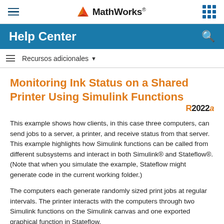[Figure (logo): MathWorks logo with hamburger menu icon on left and grid icon on right in top navigation bar]
Help Center
Recursos adicionales ▼
Monitoring Ink Status on a Shared Printer Using Simulink Functions
R2022a
This example shows how clients, in this case three computers, can send jobs to a server, a printer, and receive status from that server. This example highlights how Simulink functions can be called from different subsystems and interact in both Simulink® and Stateflow®. (Note that when you simulate the example, Stateflow might generate code in the current working folder.)
The computers each generate randomly sized print jobs at regular intervals. The printer interacts with the computers through two Simulink functions on the Simulink canvas and one exported graphical function in Stateflow.